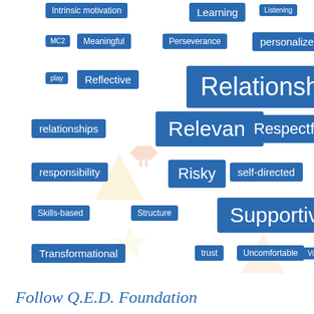[Figure (infographic): Word cloud / tag cloud of educational terms displayed as blue pill-shaped label buttons of varying sizes on a white background, with faint decorative icon shapes. Terms include: Intrinsic motivation, Learning, Listening, MC2, Meaningful, Perseverance, personalized, play, Reflective, Relationship-Driven, relationships, Relevant, Respectful, responsibility, Risky, self-directed, Skills-based, Structure, Supportive, Transformational, trust, Uncomfortable, Video]
Follow Q.E.D. Foundation